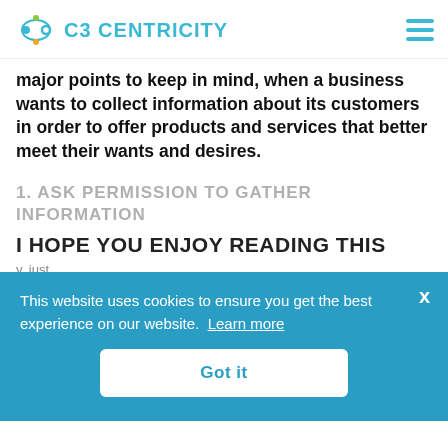C3 CENTRICITY
major points to keep in mind, when a business wants to collect information about its customers in order to offer products and services that better meet their wants and desires.
1. ASK PERMISSION TO GATHER INFORMATION
I HOPE YOU ENJOY READING THIS
y, just ness
This website uses cookies to ensure you get the best experience on our website. Learn more
Got it